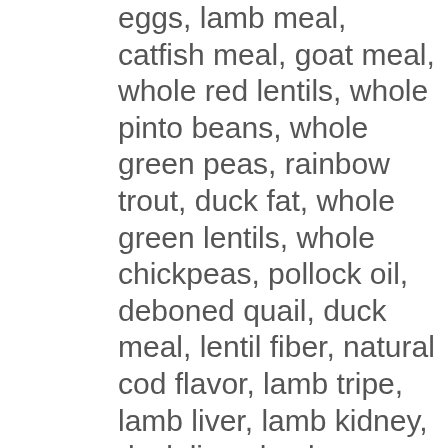eggs, lamb meal, catfish meal, goat meal, whole red lentils, whole pinto beans, whole green peas, rainbow trout, duck fat, whole green lentils, whole chickpeas, pollock oil, deboned quail, duck meal, lentil fiber, natural cod flavor, lamb tripe, lamb liver, lamb kidney, duck liver, lamb cartilage, choline chloride, whole pumpkin, whole butternut squash, mixed tocopherols (preservative), dried kelp, zinc proteinate, kale, spinach, mustard greens, collard greens, turnip greens, whole carrots, whole apples, whole pears, freeze-dried lamb liver, freeze-dried duck liver, pumpkin seeds, sunflower seeds, niacin, thiamine mononitrate, pyridoxine hydrochloride